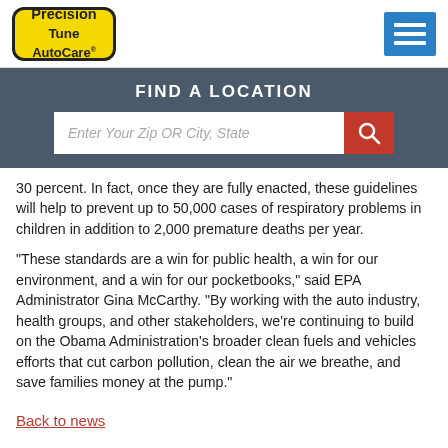[Figure (logo): Precision Tune Auto Care logo — yellow rounded rectangle with black border, red/orange heartbeat line, black bold text]
[Figure (other): Blue hamburger menu icon with three white horizontal lines]
FIND A LOCATION
Enter Your Zip OR City, State
30 percent. In fact, once they are fully enacted, these guidelines will help to prevent up to 50,000 cases of respiratory problems in children in addition to 2,000 premature deaths per year.
"These standards are a win for public health, a win for our environment, and a win for our pocketbooks," said EPA Administrator Gina McCarthy. "By working with the auto industry, health groups, and other stakeholders, we're continuing to build on the Obama Administration's broader clean fuels and vehicles efforts that cut carbon pollution, clean the air we breathe, and save families money at the pump."
Back to news